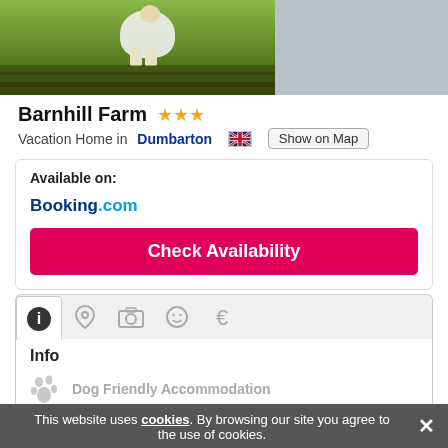[Figure (photo): Partial photo of a sheep at a farm gate with green grass, and a grey area to the right (map or second image).]
Barnhill Farm ★★★
Vacation Home in Dumbarton 🇬🇧 Show on Map
Available on:
Booking.com
Check Availability
Info
Dog Friendly Accommodation
Show more ▾
Categories 1
This website uses cookies. By browsing our site you agree to the use of cookies.